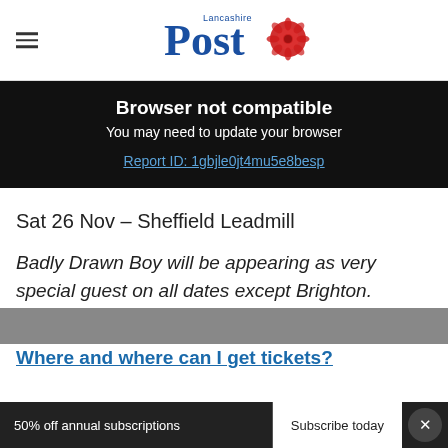Lancashire Post
Browser not compatible
You may need to update your browser
Report ID: 1gbjle0jt4mu5e8besp
Sat 26 Nov – Sheffield Leadmill
Badly Drawn Boy will be appearing as very special guest on all dates except Brighton.
Where and where can I get tickets?
50% off annual subscriptions   Subscribe today